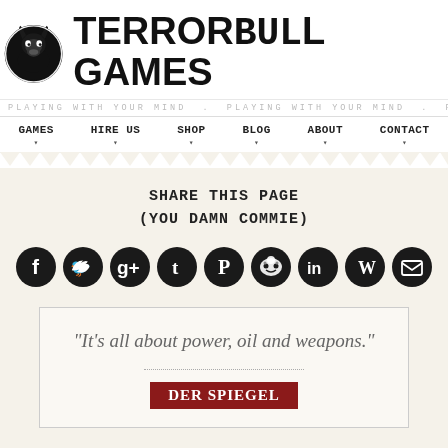[Figure (logo): Terrorbull Games logo with bull illustration and text]
PLAYING WITH YOUR MIND . PLAYING WITH YOUR MIND . PLAYING WITH YOUR MIND . PLAYING WITH YOUR MIND . PLAYING WITH YOUR MIND .
GAMES  HIRE US  SHOP  BLOG  ABOUT  CONTACT
SHARE THIS PAGE
(YOU DAMN COMMIE)
[Figure (infographic): Row of 9 social media share icons: Facebook, Twitter, Google+, Tumblr, Pinterest, Reddit, LinkedIn, WordPress, Email]
"It's all about power, oil and weapons."
[Figure (logo): Der Spiegel red badge logo]